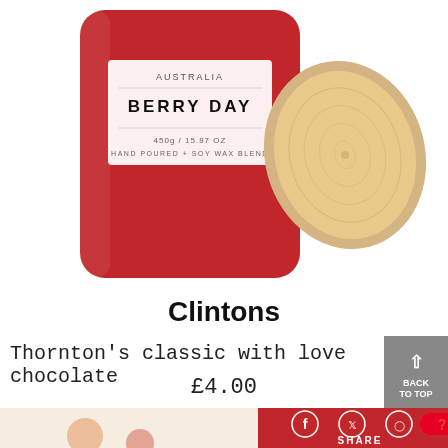[Figure (photo): A red frosted glass candle jar with a white label reading 'AUSTRALIA / BERRY DAY / 450g / 15.87 OZ / HAND POURED + SOY WAX BLEND', with a round wooden lid placed to the right and partially behind the jar. White background.]
Clintons
Thornton's classic with love chocolate
£4.00
[Figure (screenshot): Bottom portion showing social share bar with Facebook, Twitter, Instagram icons and Pinterest Save button in red, with SHARE label below. Partially visible product imagery in background.]